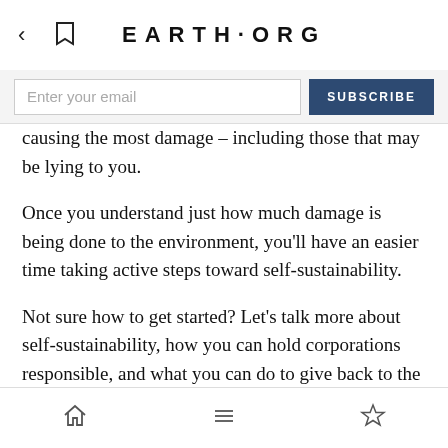EARTH·ORG
Enter your email
causing the most damage – including those that may be lying to you.
Once you understand just how much damage is being done to the environment, you'll have an easier time taking active steps toward self-sustainability.
Not sure how to get started? Let's talk more about self-sustainability, how you can hold corporations responsible, and what you can do to give back to the planet by avoiding their practices.
What Is Self-Sustainability?